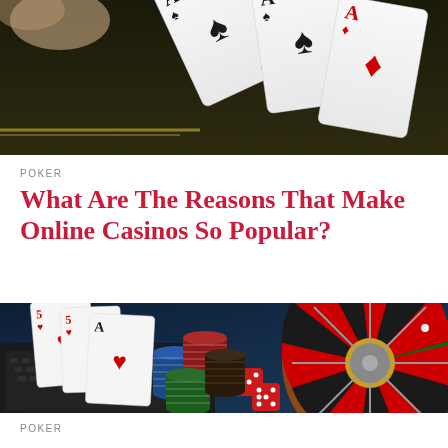[Figure (photo): Close-up of playing cards (aces) fanned out on a dark casino table surface with green/yellow felt pattern]
POKER
What Are The Reasons That Make Online Casinos So Popular?
[Figure (photo): Casino scene with a laptop, playing cards, stacks of poker chips (blue, red, green, dark), red dice, and a roulette wheel on a blue surface]
POKER